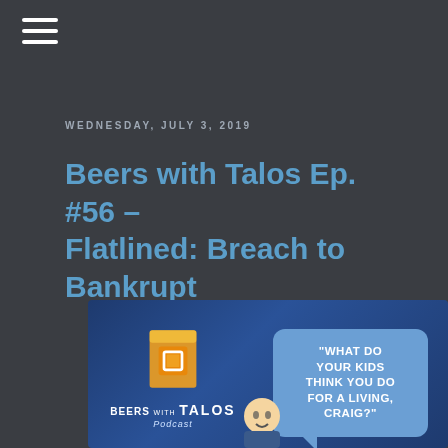☰
WEDNESDAY, JULY 3, 2019
Beers with Talos Ep. #56 – Flatlined: Breach to Bankrupt
[Figure (illustration): Beers with Talos Podcast banner image featuring a beer glass with Talos logo, the text 'BEERS with TALOS Podcast', a speech bubble reading 'WHAT DO YOUR KIDS THINK YOU DO FOR A LIVING, CRAIG?', and a cartoon face illustration]